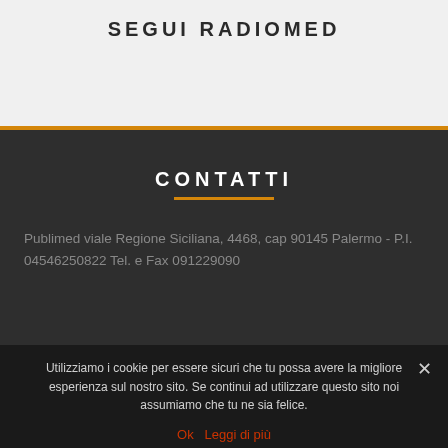SEGUI RADIOMED
CONTATTI
Publimed viale Regione Siciliana, 4468, cap 90145 Palermo - P.I. 04546250822 Tel. e Fax 091229090
Utilizziamo i cookie per essere sicuri che tu possa avere la migliore esperienza sul nostro sito. Se continui ad utilizzare questo sito noi assumiamo che tu ne sia felice.
Ok  Leggi di più